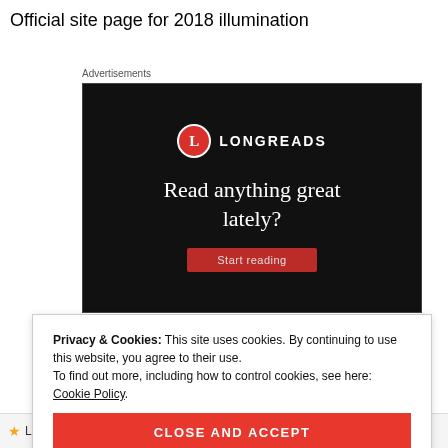Official site page for 2018 illumination
[Figure (screenshot): Longreads advertisement banner with black background. Shows the Longreads logo (red circle with L and LONGREADS text), and the headline 'Read anything great lately?' with a red 'Start reading' button partially visible at the bottom.]
Privacy & Cookies: This site uses cookies. By continuing to use this website, you agree to their use.
To find out more, including how to control cookies, see here: Cookie Policy
CLOSE AND ACCEPT